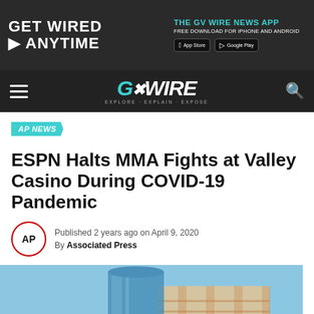[Figure (infographic): GV Wire news app advertisement banner: 'GET WIRED ANYTIME' with app store download buttons for iPhone and Android]
GV WIRE — EXPLORE. EXPLAIN. EXPOSE.
AP NEWS
ESPN Halts MMA Fights at Valley Casino During COVID-19 Pandemic
Published 2 years ago on April 9, 2020
By Associated Press
[Figure (photo): Exterior photo of a valley casino building with blue glass tower, brick and stone facade, and a circular decorative element, set against a clear blue sky]